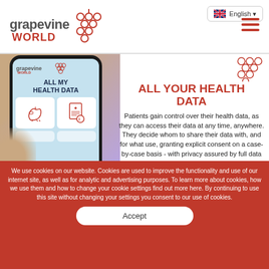[Figure (logo): Grapevine World logo with grape cluster icon in red, text 'grapevine WORLD' in dark gray/red]
[Figure (screenshot): Smartphone mockup showing Grapevine World app screen with 'ALL MY HEALTH DATA' heading and health icons, held by a hand]
ALL YOUR HEALTH DATA
Patients gain control over their health data, as they can access their data at any time, anywhere. They decide whom to share their data with, and for what use, granting explicit consent on a case-by-case basis - with privacy assured by full data
We use cookies on our website. Cookies are used to improve the functionality and use of our internet site, as well as for analytic and advertising purposes. To learn more about cookies, how we use them and how to change your cookie settings find out more here. By continuing to use this site without changing your settings you consent to our use of cookies.